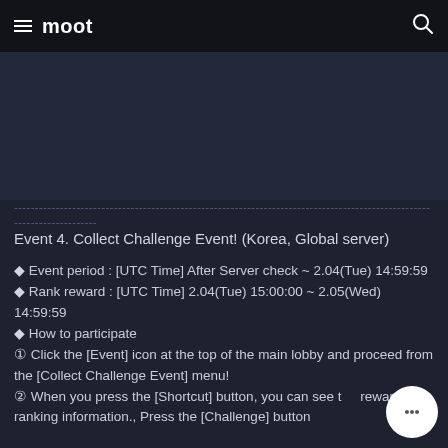≡ moot 🔍
----------------------------------------------------------------------------------------------------
--------------------
Event 4. Collect Challenge Event! (Korea, Global server)
◆ Event period : [UTC Time] After Server check ~ 2.04(Tue) 14:59:59
◆ Rank reward : [UTC Time] 2.04(Tue) 15:00:00 ~ 2.05(Wed) 14:59:59
◆ How to participate
① Click the [Event] icon at the top of the main lobby and proceed from the [Collect Challenge Event] menu!
② When you press the [Shortcut] button, you can see the reward and ranking information., Press the [Challenge] button